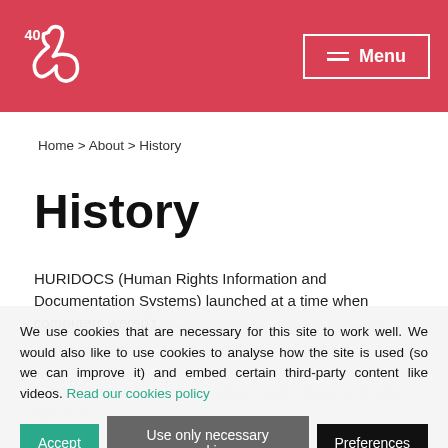HURIDOCS — Menu
Home > About > History
History
HURIDOCS (Human Rights Information and Documentation Systems) launched at a time when computers weren't widespread and human rights defenders struggled to...
We use cookies that are necessary for this site to work well. We would also like to use cookies to analyse how the site is used (so we can improve it) and embed certain third-party content like videos. Read our cookies policy
Accept | Use only necessary cookies | Preferences